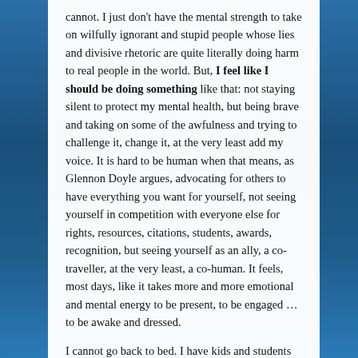cannot. I just don't have the mental strength to take on wilfully ignorant and stupid people whose lies and divisive rhetoric are quite literally doing harm to real people in the world. But, I feel like I should be doing something like that: not staying silent to protect my mental health, but being brave and taking on some of the awfulness and trying to challenge it, change it, at the very least add my voice. It is hard to be human when that means, as Glennon Doyle argues, advocating for others to have everything you want for yourself, not seeing yourself in competition with everyone else for rights, resources, citations, students, awards, recognition, but seeing yourself as an ally, a co-traveller, at the very least, a co-human. It feels, most days, like it takes more and more emotional and mental energy to be present, to be engaged … to be awake and dressed.

I cannot go back to bed. I have kids and students and courses to teach and papers to write and thesis projects to supervise and a journal to manage and people to talk to and be present for and with, albeit online. I cannot stop doing what I do – I cannot stop